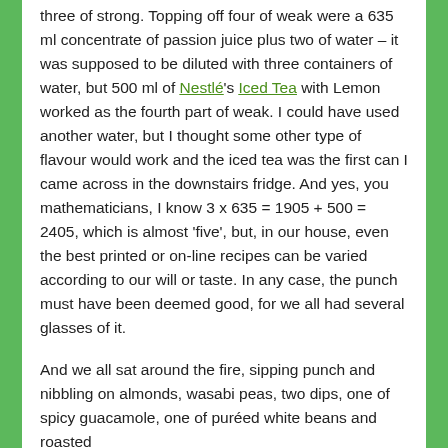three of strong. Topping off four of weak were a 635 ml concentrate of passion juice plus two of water – it was supposed to be diluted with three containers of water, but 500 ml of Nestlé's Iced Tea with Lemon worked as the fourth part of weak. I could have used another water, but I thought some other type of flavour would work and the iced tea was the first can I came across in the downstairs fridge. And yes, you mathematicians, I know 3 x 635 = 1905 + 500 = 2405, which is almost 'five', but, in our house, even the best printed or on-line recipes can be varied according to our will or taste. In any case, the punch must have been deemed good, for we all had several glasses of it.
And we all sat around the fire, sipping punch and nibbling on almonds, wasabi peas, two dips, one of spicy guacamole, one of puréed white beans and roasted